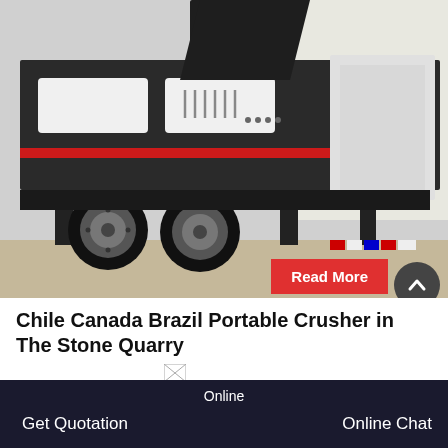[Figure (photo): A large portable/mobile stone crusher machine on a trailer/flatbed, with black body, white panels, red accent stripe, and large wheels. Photographed outdoors near a building.]
Read More
Chile Canada Brazil Portable Crusher in The Stone Quarry
Hebei stone Crusher Manufacturer, Crusher Manufacturer
Online | Get Quotation | Online Chat